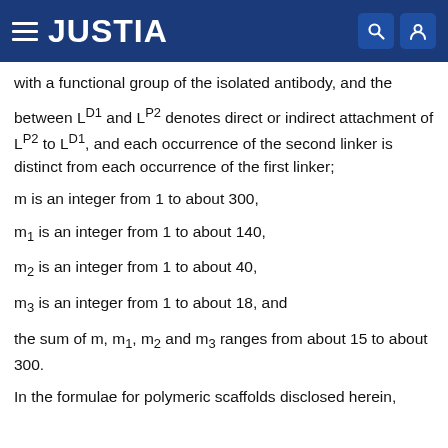JUSTIA
with a functional group of the isolated antibody, and the
between L^D1 and L^P2 denotes direct or indirect attachment of L^P2 to L^D1, and each occurrence of the second linker is distinct from each occurrence of the first linker;
m is an integer from 1 to about 300,
m1 is an integer from 1 to about 140,
m2 is an integer from 1 to about 40,
m3 is an integer from 1 to about 18, and
the sum of m, m1, m2 and m3 ranges from about 15 to about 300.
In the formulae for polymeric scaffolds disclosed herein,